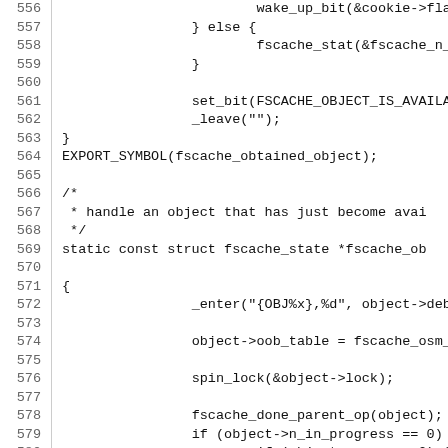Source code listing, lines 556-585, showing C kernel code for fscache object handling
556    wake_up_bit(&cookie->flags, F
557    } else {
558        fscache_stat(&fscache_n_objec
559    }
560
561        set_bit(FSCACHE_OBJECT_IS_AVAILABLE,
562        _leave("");
563 }
564 EXPORT_SYMBOL(fscache_obtained_object);
565
566 /*
567  * handle an object that has just become avai
568  */
569 static const struct fscache_state *fscache_ob
570
571 {
572        _enter("{OBJ%x},%d", object->debug_id
573
574        object->oob_table = fscache_osm_run_o
575
576        spin_lock(&object->lock);
577
578        fscache_done_parent_op(object);
579        if (object->n_in_progress == 0) {
580            if (object->n_ops > 0) {
581                ASSERTCMP(object->n_o
582                fscache_start_operati
583            } else {
584                ASSERT(list_empty(&ob
585            }